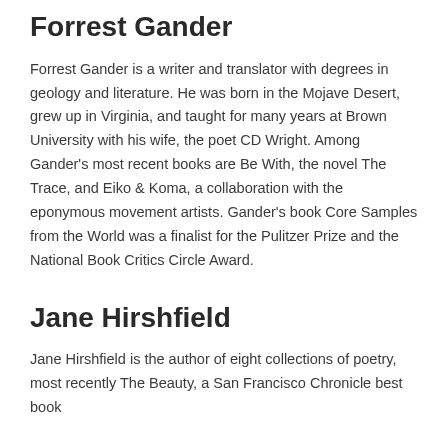Forrest Gander
Forrest Gander is a writer and translator with degrees in geology and literature. He was born in the Mojave Desert, grew up in Virginia, and taught for many years at Brown University with his wife, the poet CD Wright. Among Gander's most recent books are Be With, the novel The Trace, and Eiko & Koma, a collaboration with the eponymous movement artists. Gander's book Core Samples from the World was a finalist for the Pulitzer Prize and the National Book Critics Circle Award.
Jane Hirshfield
Jane Hirshfield is the author of eight collections of poetry, most recently The Beauty, a San Francisco Chronicle best book